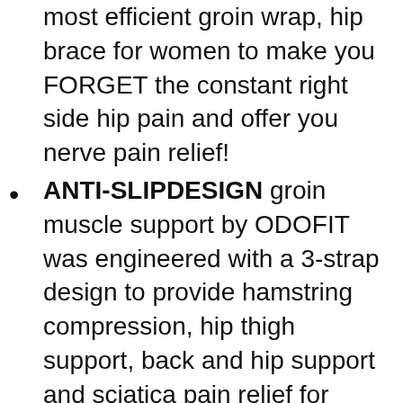most efficient groin wrap, hip brace for women to make you FORGET the constant right side hip pain and offer you nerve pain relief!
ANTI-SLIPDESIGN groin muscle support by ODOFIT was engineered with a 3-strap design to provide hamstring compression, hip thigh support, back and hip support and sciatica pain relief for women everything was considered to create this neoprene hip brace. Featuring 2 longer and one shorter STRAPS, this hamstring wrap creates optimal hip flexor pain relief, sciatica hip pain relief hip and hip thigh relief. The waistband of this sciatic nerve brace prevents the thigh wrap to slip.
The PERFECT GIFT for a loved one! Do you know anyone who need nerve pain relief, hamstring compression sleeve or thigh wrap